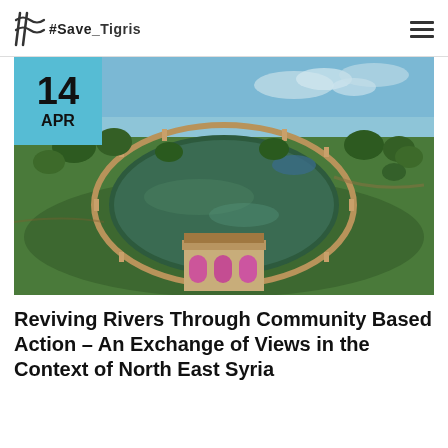#Save_Tigris
[Figure (photo): Aerial view of a circular historic reservoir/pond surrounded by a sandstone wall with ornate pillars, lush green landscape with trees, and a small heritage building with pink arched doors at the base. Date badge overlay: 14 APR.]
Reviving Rivers Through Community Based Action – An Exchange of Views in the Context of North East Syria